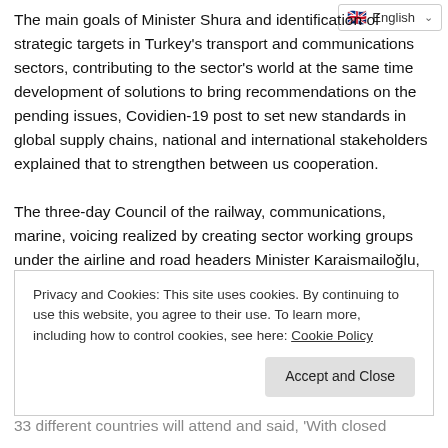The main goals of Minister Shura and identification of strategic targets in Turkey's transport and communications sectors, contributing to the sector's world at the same time development of solutions to bring recommendations on the pending issues, Covidien-19 post to set new standards in global supply chains, national and international stakeholders explained that to strengthen between us cooperation.

The three-day Council of the railway, communications, marine, voicing realized by creating sector working groups under the airline and road headers Minister Karaismailoğlu, under these topics sector working groups and reports will give the final 'Turkey Transport Policy, adding Certificate will emerge . At the
Privacy and Cookies: This site uses cookies. By continuing to use this website, you agree to their use. To learn more, including how to control cookies, see here: Cookie Policy
Accept and Close
33 different countries will attend and said, 'With closed